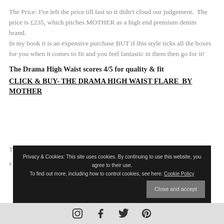The Price: I've left the price till last so it didn't cloud our judgement.  The price is £235, which pitches MOTHER as a high end premium denim brand.
In my book it is an expensive purchase BUT if this style ticks all the boxes for you when it comes to fit and you feel fantastic in them then go for it!
The Drama High Waist scores 4/5 for quality & fit
CLICK & BUY- THE DRAMA HIGH WAIST FLARE  BY MOTHER
[Figure (screenshot): Cookie consent banner with black background, text about privacy and cookies, a link to Cookie Policy, and a Close and accept button. Below is a social media footer bar with Instagram, Facebook, Twitter, and Pinterest icons.]